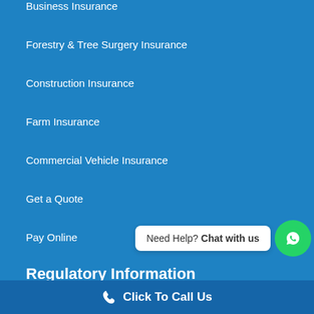Business Insurance
Forestry & Tree Surgery Insurance
Construction Insurance
Farm Insurance
Commercial Vehicle Insurance
Get a Quote
Pay Online
Regulatory Information
Stuart Insurances (South East) Ltd is regulated by the Central Bank of Ireland. Stuart Financial Services Ltd is regulated by the
[Figure (other): WhatsApp chat widget with bubble saying 'Need Help? Chat with us' and green WhatsApp icon button]
Click To Call Us